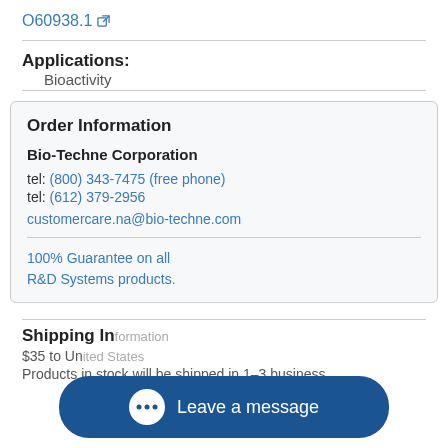O60938.1 [external link]
Applications:
Bioactivity
Order Information
Bio-Techne Corporation
tel: (800) 343-7475 (free phone)
tel: (612) 379-2956
customercare.na@bio-techne.com
100% Guarantee on all R&D Systems products.
Shipping Information
$35 to United States
Products in stock will be shipped in 1-3 business